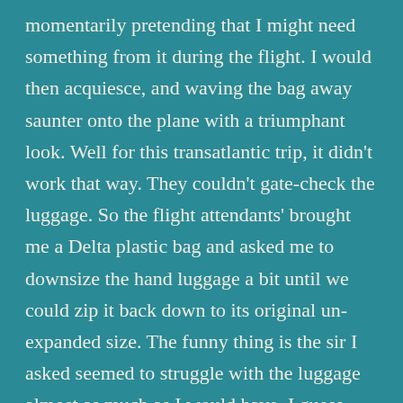momentarily pretending that I might need something from it during the flight. I would then acquiesce, and waving the bag away saunter onto the plane with a triumphant look. Well for this transatlantic trip, it didn't work that way. They couldn't gate-check the luggage. So the flight attendants' brought me a Delta plastic bag and asked me to downsize the hand luggage a bit until we could zip it back down to its original un-expanded size. The funny thing is the sir I asked seemed to struggle with the luggage almost as much as I would have. I guess that should teach me to go by appearances. Anyway, I made it through to Amsterdam smiling at strange white men who surprisingly happened to be contractors from the